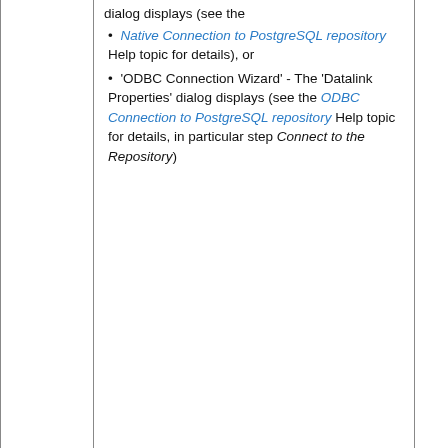| Step | Description |  |
| --- | --- | --- |
|  | dialog displays (see the Native Connection to PostgreSQL repository Help topic for details), or
• 'ODBC Connection Wizard' - The 'Datalink Properties' dialog displays (see the ODBC Connection to PostgreSQL repository Help topic for details, in particular step Connect to the Repository) |  |
| 3.1.9 | If required, select the 'Logfile' checkbox and type a path and filename for the data transfer log file. |  |
| 3.1.10 | Click on the Transfer button to begin the data transfer process. |  |